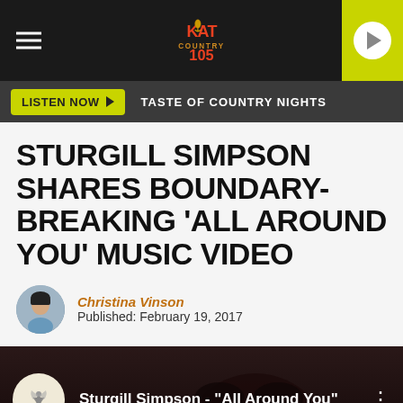[Figure (screenshot): KAT Country 105 radio station logo centered in dark banner header with hamburger menu on left and yellow play button on right]
LISTEN NOW ▶  TASTE OF COUNTRY NIGHTS
STURGILL SIMPSON SHARES BOUNDARY-BREAKING 'ALL AROUND YOU' MUSIC VIDEO
Christina Vinson
Published: February 19, 2017
[Figure (screenshot): YouTube video thumbnail for Sturgill Simpson - 'All Around You' with dark background showing a face silhouette, video icon circle on left, title text, and three-dot menu on right]